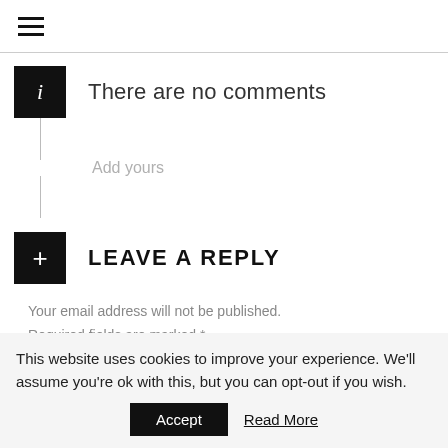≡
There are no comments
Add yours
LEAVE A REPLY
Your email address will not be published. Required fields are marked *
Comment *
This website uses cookies to improve your experience. We'll assume you're ok with this, but you can opt-out if you wish.
Accept  Read More